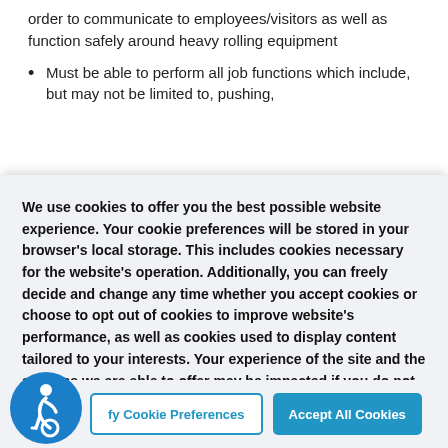order to communicate to employees/visitors as well as function safely around heavy rolling equipment
Must be able to perform all job functions which include, but may not be limited to, pushing,
We use cookies to offer you the best possible website experience. Your cookie preferences will be stored in your browser's local storage. This includes cookies necessary for the website's operation. Additionally, you can freely decide and change any time whether you accept cookies or choose to opt out of cookies to improve website's performance, as well as cookies used to display content tailored to your interests. Your experience of the site and the services we are able to offer may be impacted if you do not accept all cookies.
[Figure (logo): Blue circular accessibility icon with wheelchair user symbol]
fy Cookie Preferences
Accept All Cookies